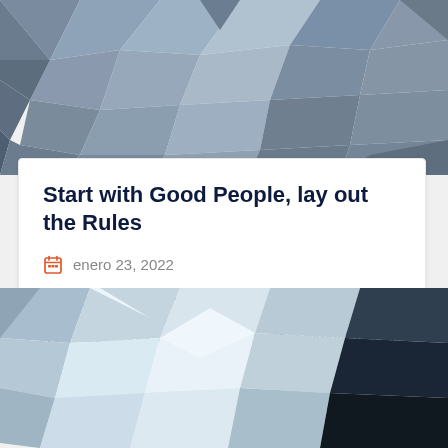[Figure (illustration): Polygonal low-poly geometric background image in shades of blue, grey, and taupe at the top of the page]
Start with Good People, lay out the Rules
enero 23, 2022
9:00 pm to 1:30 pm
Maggiano's, 205 Mall Boulevard, King of Prussia, PA, U.S.
[Figure (illustration): Polygonal low-poly geometric background image in shades of blue, white, grey, and black at the bottom of the page]